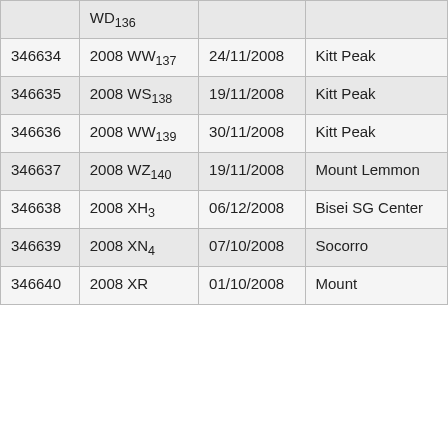|  | WD₁₃₆ |  |  |
| 346634 | 2008 WW₁₃₇ | 24/11/2008 | Kitt Peak |
| 346635 | 2008 WS₁₃⁸ | 19/11/2008 | Kitt Peak |
| 346636 | 2008 WW₁″⁹ | 30/11/2008 | Kitt Peak |
| 346637 | 2008 WZ₁₄₀ | 19/11/2008 | Mount Lemmon |
| 346638 | 2008 XH₃ | 06/12/2008 | Bisei SG Center |
| 346639 | 2008 XN₄ | 07/10/2008 | Socorro |
| 346640 | 2008 XR... | 01/10/2008 | Mount |